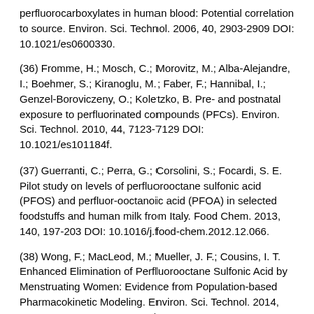perfluorocarboxylates in human blood: Potential correlation to source. Environ. Sci. Technol. 2006, 40, 2903-2909 DOI: 10.1021/es0600330.
(36) Fromme, H.; Mosch, C.; Morovitz, M.; Alba-Alejandre, I.; Boehmer, S.; Kiranoglu, M.; Faber, F.; Hannibal, I.; Genzel-Boroviczeny, O.; Koletzko, B. Pre- and postnatal exposure to perfluorinated compounds (PFCs). Environ. Sci. Technol. 2010, 44, 7123-7129 DOI: 10.1021/es101184f.
(37) Guerranti, C.; Perra, G.; Corsolini, S.; Focardi, S. E. Pilot study on levels of perfluorooctane sulfonic acid (PFOS) and perfluor-ooctanoic acid (PFOA) in selected foodstuffs and human milk from Italy. Food Chem. 2013, 140, 197-203 DOI: 10.1016/j.food-chem.2012.12.066.
(38) Wong, F.; MacLeod, M.; Mueller, J. F.; Cousins, I. T. Enhanced Elimination of Perfluorooctane Sulfonic Acid by Menstruating Women: Evidence from Population-based Pharmacokinetic Modeling. Environ. Sci. Technol. 2014, 48, 8808-8814 DOI: 10.1021/es500796y.
(39) Li, J.; Guo, F.; Wang, Y.; Zhang, J.; Zhong, Y.; Zhao, Y.;